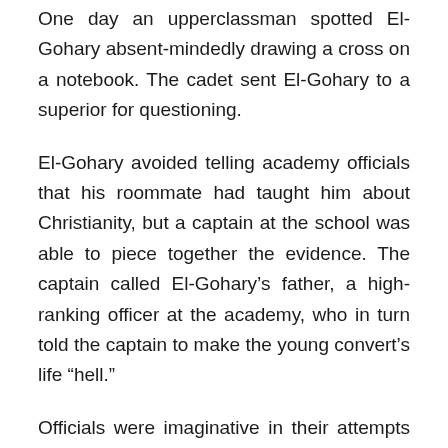One day an upperclassman spotted El-Gohary absent-mindedly drawing a cross on a notebook. The cadet sent El-Gohary to a superior for questioning.
El-Gohary avoided telling academy officials that his roommate had taught him about Christianity, but a captain at the school was able to piece together the evidence. The captain called El-Gohary’s father, a high-ranking officer at the academy, who in turn told the captain to make the young convert’s life “hell.”
Officials were imaginative in their attempts to break El-Gohary. He had to wake up before all the other students. He was ordered to carry his mattress around buildings and up and down flights of stairs. They exercised El-Gohary until he was about to pass out. Then they forced him to